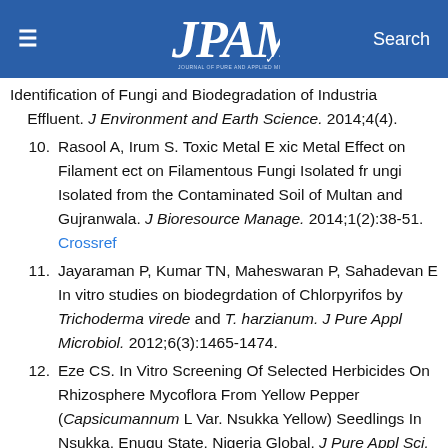JPAM — Journal of Pure and Applied Microbiology
Identification of Fungi and Biodegradation of Industrial Effluent. J Environment and Earth Science. 2014;4(4).
10. Rasool A, Irum S. Toxic Metal E xic Metal Effect on Filament ect on Filamentous Fungi Isolated fr ungi Isolated from the Contaminated Soil of Multan and Gujranwala. J Bioresource Manage. 2014;1(2):38-51. Crossref
11. Jayaraman P, Kumar TN, Maheswaran P, Sahadevan E. In vitro studies on biodegrdation of Chlorpyrifos by Trichoderma virede and T. harzianum. J Pure Appl Microbiol. 2012;6(3):1465-1474.
12. Eze CS. In Vitro Screening Of Selected Herbicides On Rhizosphere Mycoflora From Yellow Pepper (Capsicumannum L Var. Nsukka Yellow) Seedlings In Nsukka, Enugu State, Nigeria Global. J Pure Appl Sci.